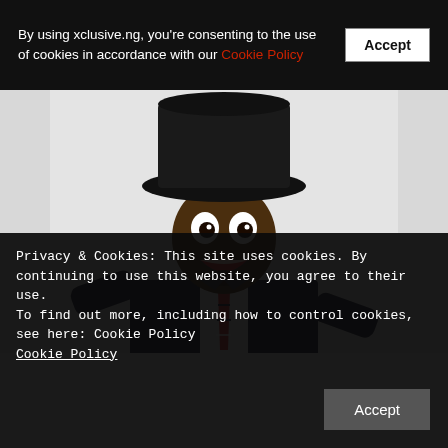By using xclusive.ng, you're consenting to the use of cookies in accordance with our Cookie Policy  [Accept]
[Figure (photo): A man wearing a black top hat and dark suit with a red striped tie, making an exaggerated surprised/excited expression with wide eyes and open mouth, against a light grey background.]
Privacy & Cookies: This site uses cookies. By continuing to use this website, you agree to their use.
To find out more, including how to control cookies, see here: Cookie Policy
Cookie Policy
Accept